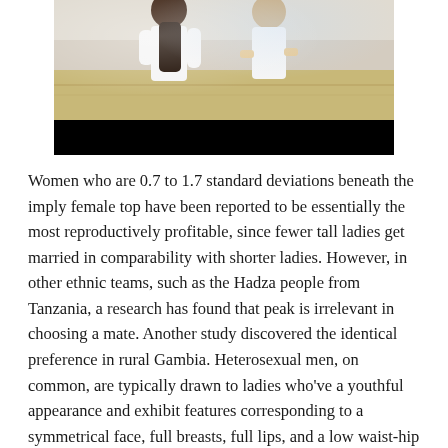[Figure (photo): Two young women in white t-shirts standing in what appears to be a gymnasium. One faces away showing her back, the other stands with hands on hips. A black bar is overlaid at the bottom of the image.]
Women who are 0.7 to 1.7 standard deviations beneath the imply female top have been reported to be essentially the most reproductively profitable, since fewer tall ladies get married in comparability with shorter ladies. However, in other ethnic teams, such as the Hadza people from Tanzania, a research has found that peak is irrelevant in choosing a mate. Another study discovered the identical preference in rural Gambia. Heterosexual men, on common, are typically drawn to ladies who've a youthful appearance and exhibit features corresponding to a symmetrical face, full breasts, full lips, and a low waist-hip ratio. Black women and women of color, on many platforms and types of illustration, have been